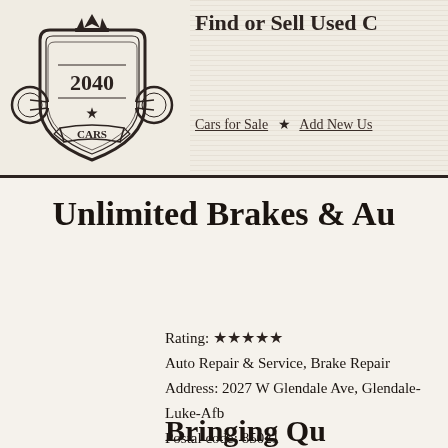[Figure (logo): 2040 Cars logo — ornate shield with crown, flanked by circular headlight motifs, with '2040' inscribed and 'CARS' on a banner below]
Find or Sell Used C…
Cars for Sale ★ Add New Us…
Unlimited Brakes & Au…
Rating: ★★★★★
Auto Repair & Service, Brake Repair
Address: 2027 W Glendale Ave, Glendale-Luke-Afb
Postal code: 85021
Phone: (602) 246-1175
Bringing Qu…